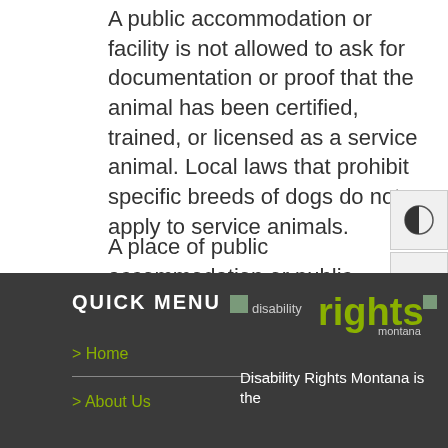A public accommodation or facility is not allowed to ask for documentation or proof that the animal has been certified, trained, or licensed as a service animal. Local laws that prohibit specific breeds of dogs do not apply to service animals.
A place of public accommodation or public entity may not ask an individual with a disability to pay a surcharge.
QUICK MENU
> Home
> About Us
[Figure (logo): Disability Rights Montana logo with square brackets and green 'rights' text]
Disability Rights Montana is the